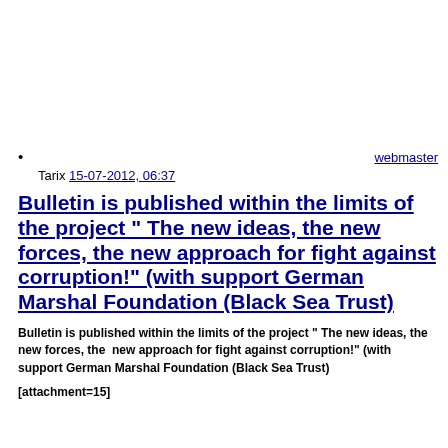webmaster
Tarix 15-07-2012, 06:37
Bulletin is published within the limits of the project “ The new ideas, the new forces, the new approach for fight against corruption!” (with support German Marshal Foundation (Black Sea Trust)
Bulletin is published within the limits of the project “ The new ideas, the new forces, the  new approach for fight against corruption!” (with support German Marshal Foundation (Black Sea Trust)
[attachment=15]